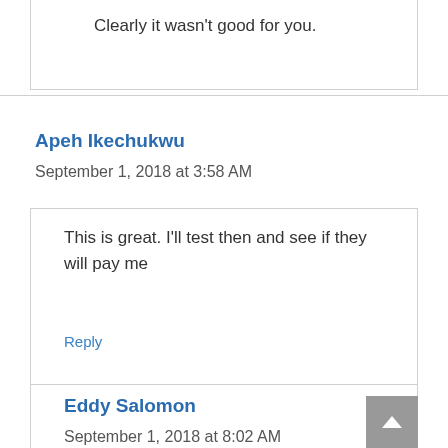Clearly it wasn't good for you.
Apeh Ikechukwu
September 1, 2018 at 3:58 AM
This is great. I'll test then and see if they will pay me
Reply
Eddy Salomon
September 1, 2018 at 8:02 AM